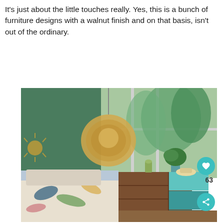It's just about the little touches really. Yes, this is a bunch of furniture designs with a walnut finish and on that basis, isn't out of the ordinary.
[Figure (photo): A styled bedroom interior featuring a walnut and teal mid-century modern dresser with drawers, tropical print bedding, a woven rattan pendant lamp, and green plants by a large window. Heart (63 likes) and share buttons are overlaid on the right side of the image.]